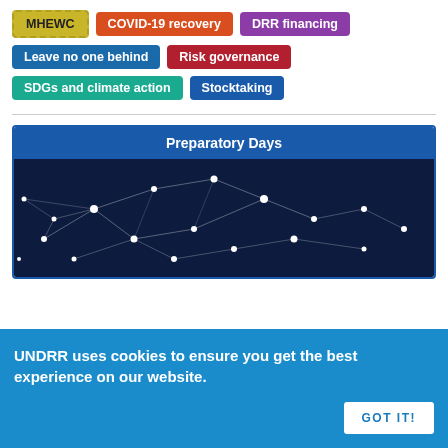MHEWC
COVID-19 recovery
DRR financing
Leave no one behind
Risk governance
SDGs and climate action
Stocktaking
[Figure (screenshot): Dark navy background with white network/node connection lines and dots forming a web-like pattern, under a blue header reading 'Preparatory Days']
Preparatory Days
UNDRR uses cookies to ensure you get the best experience on our website.